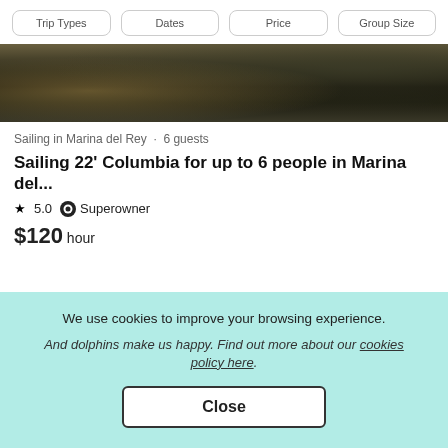Trip Types | Dates | Price | Group Size
[Figure (photo): Partial photo of a sailboat on dark water in Marina del Rey, showing the deck and water reflections.]
Sailing in Marina del Rey · 6 guests
Sailing 22' Columbia for up to 6 people in Marina del...
★ 5.0  🏅 Superowner
$120 hour
We use cookies to improve your browsing experience.
And dolphins make us happy. Find out more about our cookies policy here.
Close